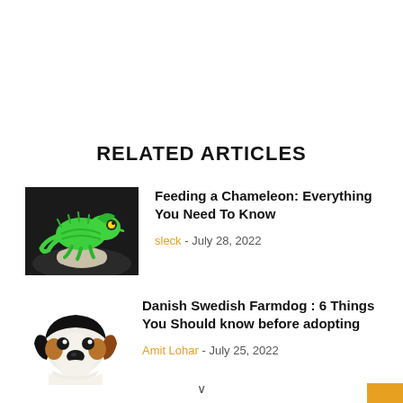RELATED ARTICLES
[Figure (photo): Green chameleon sitting on a surface, dark background]
Feeding a Chameleon: Everything You Need To Know
sleck - July 28, 2022
[Figure (photo): Danish Swedish Farmdog puppy illustration, white background]
Danish Swedish Farmdog : 6 Things You Should know before adopting
Amit Lohar - July 25, 2022